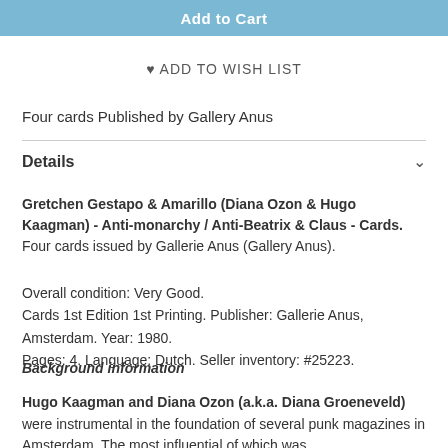[Figure (other): Blue 'Add to Cart' button at top of page]
♥ ADD TO WISH LIST
Four cards Published by Gallery Anus
Details
Gretchen Gestapo & Amarillo (Diana Ozon & Hugo Kaagman) - Anti-monarchy / Anti-Beatrix & Claus - Cards. Four cards issued by Gallerie Anus (Gallery Anus).
Overall condition: Very Good.
Cards 1st Edition 1st Printing. Publisher: Gallerie Anus, Amsterdam. Year: 1980.
Pages: 4. Language: Dutch. Seller inventory: #25223.
Background information
Hugo Kaagman and Diana Ozon (a.k.a. Diana Groeneveld) were instrumental in the foundation of several punk magazines in Amsterdam. The most influential of which was